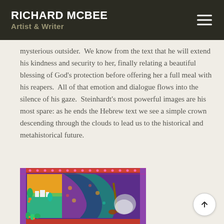RICHARD MCBEE
Artist & Writer
mysterious outsider.  We know from the text that he will extend his kindness and security to her, finally relating a beautiful blessing of God’s protection before offering her a full meal with his reapers.  All of that emotion and dialogue flows into the silence of his gaze.  Steinhardt’s most powerful images are his most spare: as he ends the Hebrew text we see a simple crown descending through the clouds to lead us to the historical and metahistorical future.
[Figure (photo): Colorful decorative painting with rich patterns, fabrics, and ornamental border, featuring landscape and still-life elements in jewel tones]